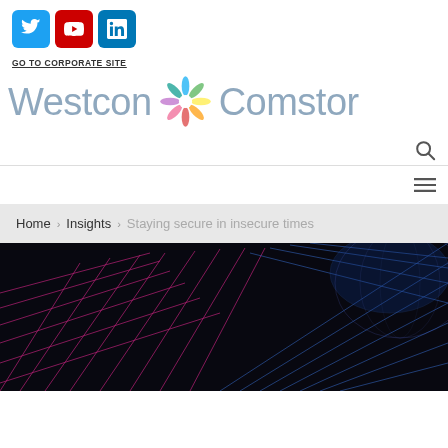[Figure (logo): Social media icons: Twitter (blue), YouTube (red), LinkedIn (blue)]
GO TO CORPORATE SITE
[Figure (logo): Westcon Comstor logo with colorful pinwheel icon]
[Figure (other): Search magnifying glass icon]
[Figure (other): Hamburger menu icon]
Home > Insights > Staying secure in insecure times
[Figure (photo): Dark hero image with pink and blue neon grid/wave lines on black background]